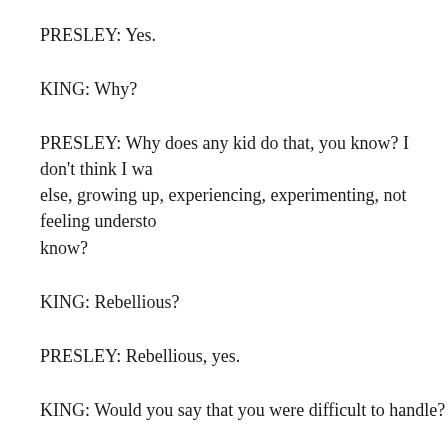PRESLEY: Yes.
KING: Why?
PRESLEY: Why does any kid do that, you know? I don't think I wa else, growing up, experiencing, experimenting, not feeling understo know?
KING: Rebellious?
PRESLEY: Rebellious, yes.
KING: Would you say that you were difficult to handle?
PRESLEY: I was difficult to handle, yes. But, yes.